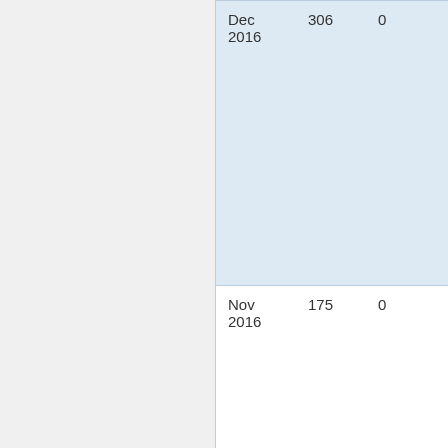| Date | Value1 | Value2 |
| --- | --- | --- |
| Dec 2016 | 306 | 0 |
| Nov 2016 | 175 | 0 |